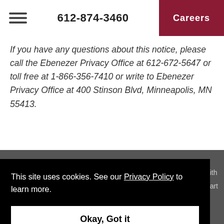612-874-3460   Careers
If you have any questions about this notice, please call the Ebenezer Privacy Office at 612-672-5647 or toll free at 1-866-356-7410 or write to Ebenezer Privacy Office at 400 Stinson Blvd, Minneapolis, MN 55413.
This site uses cookies. See our Privacy Policy to learn more.
Okay, Got it
r with s part o ier
Discrimination is Against the Law. We comply with